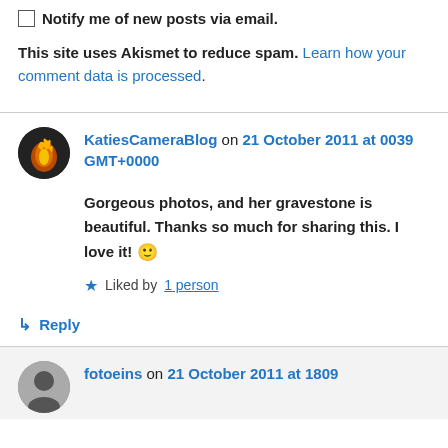Notify me of new posts via email.
This site uses Akismet to reduce spam. Learn how your comment data is processed.
KatiesCameraBlog on 21 October 2011 at 0039 GMT+0000
Gorgeous photos, and her gravestone is beautiful. Thanks so much for sharing this. I love it! 🙂
Liked by 1 person
Reply
fotoeins on 21 October 2011 at 1809